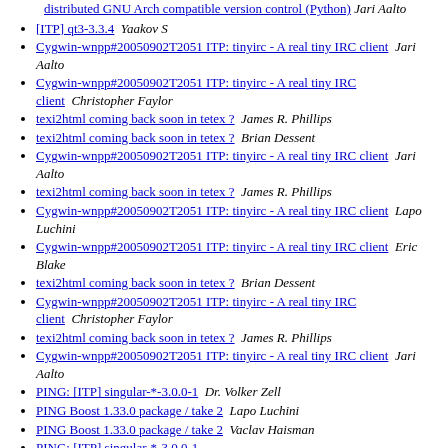distributed GNU Arch compatible version control (Python)  Jari Aalto
[ITP] qt3-3.3.4  Yaakov S
Cygwin-wnpp#20050902T2051 ITP: tinyirc - A real tiny IRC client   Jari Aalto
Cygwin-wnpp#20050902T2051 ITP: tinyirc - A real tiny IRC client   Christopher Faylor
texi2html coming back soon in tetex ?   James R. Phillips
texi2html coming back soon in tetex ?   Brian Dessent
Cygwin-wnpp#20050902T2051 ITP: tinyirc - A real tiny IRC client   Jari Aalto
texi2html coming back soon in tetex ?   James R. Phillips
Cygwin-wnpp#20050902T2051 ITP: tinyirc - A real tiny IRC client   Lapo Luchini
Cygwin-wnpp#20050902T2051 ITP: tinyirc - A real tiny IRC client   Eric Blake
texi2html coming back soon in tetex ?   Brian Dessent
Cygwin-wnpp#20050902T2051 ITP: tinyirc - A real tiny IRC client   Christopher Faylor
texi2html coming back soon in tetex ?   James R. Phillips
Cygwin-wnpp#20050902T2051 ITP: tinyirc - A real tiny IRC client   Jari Aalto
PING: [ITP] singular-*-3.0.0-1   Dr. Volker Zell
PING Boost 1.33.0 package / take 2   Lapo Luchini
PING Boost 1.33.0 package / take 2   Vaclav Haisman
PING: [ITP] singular-*-3.0.0-1   Oliva Haisman